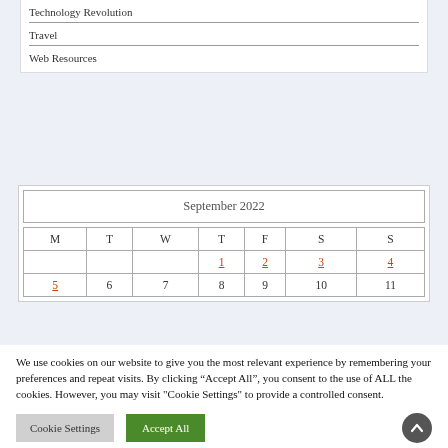Technology Revolution
Travel
Web Resources
| September 2022 |  |  |  |  |  |  |
| --- | --- | --- | --- | --- | --- | --- |
| M | T | W | T | F | S | S |
|  |  |  | 1 | 2 | 3 | 4 |
| 5 | 6 | 7 | 8 | 9 | 10 | 11 |
We use cookies on our website to give you the most relevant experience by remembering your preferences and repeat visits. By clicking “Accept All”, you consent to the use of ALL the cookies. However, you may visit "Cookie Settings" to provide a controlled consent.